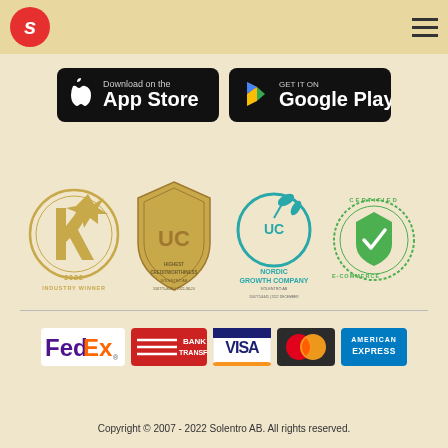Solentro – logo and navigation menu
[Figure (logo): Download on the App Store button (black badge with Apple logo)]
[Figure (logo): Get it on Google Play button (black badge with Google Play triangle logo)]
[Figure (logo): Industry Winner 2022 gold medal badge]
[Figure (logo): UC Highest Creditworthiness gold shield badge for Solentro AB 556775-8445 2022-08-24]
[Figure (logo): UC Nordic Growth Company badge for Solentro AB 556775-8445 2022 December]
[Figure (logo): Certified E-Commerce green badge with checkmark shield]
[Figure (logo): FedEx shipping logo]
[Figure (logo): Bank Transfer payment logo (red background)]
[Figure (logo): VISA credit card logo]
[Figure (logo): MasterCard logo]
[Figure (logo): American Express logo]
Copyright © 2007 - 2022 Solentro AB. All rights reserved.